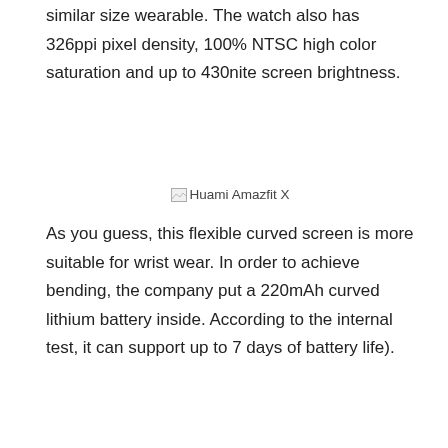similar size wearable. The watch also has 326ppi pixel density, 100% NTSC high color saturation and up to 430nite screen brightness.
[Figure (photo): Huami Amazfit X image placeholder (broken image icon with alt text 'Huami Amazfit X')]
As you guess, this flexible curved screen is more suitable for wrist wear. In order to achieve bending, the company put a 220mAh curved lithium battery inside. According to the internal test, it can support up to 7 days of battery life).
The Amazfit X features an all-metal integrated design with hidden electronic buttons that replace the raised traditional buttons.
[Figure (photo): Huami Amazfit X image placeholder (broken image icon with alt text 'Huami Amazfit X')]
Huang Wang, the founder, chairman and CEO of Huami Technology, said: 'We have encountered many difficulties, challenges and impossibility when doing such a future concept